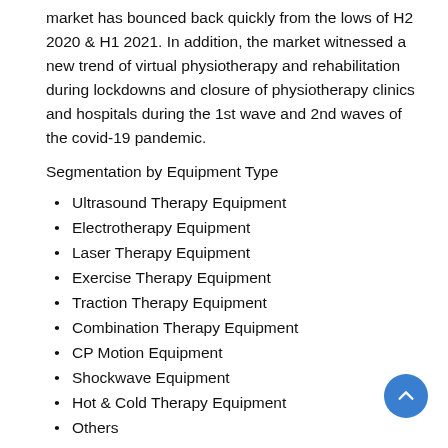market has bounced back quickly from the lows of H2 2020 & H1 2021. In addition, the market witnessed a new trend of virtual physiotherapy and rehabilitation during lockdowns and closure of physiotherapy clinics and hospitals during the 1st wave and 2nd waves of the covid-19 pandemic.
Segmentation by Equipment Type
Ultrasound Therapy Equipment
Electrotherapy Equipment
Laser Therapy Equipment
Exercise Therapy Equipment
Traction Therapy Equipment
Combination Therapy Equipment
CP Motion Equipment
Shockwave Equipment
Hot & Cold Therapy Equipment
Others
Segmentation by Application
Cardiorespiratory